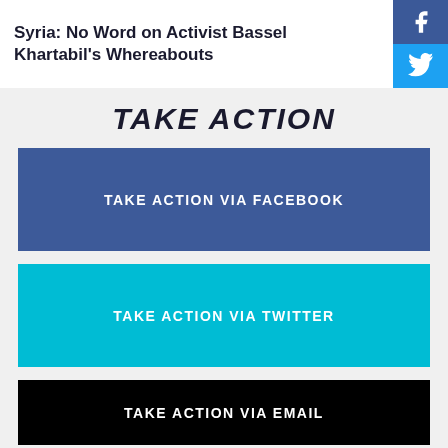Syria: No Word on Activist Bassel Khartabil's Whereabouts
TAKE ACTION
TAKE ACTION VIA FACEBOOK
TAKE ACTION VIA TWITTER
TAKE ACTION VIA EMAIL